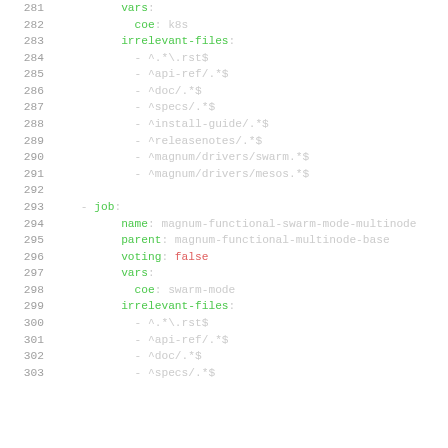Code listing lines 281-303, YAML configuration snippet showing job definitions with irrelevant-files filters and job parameters including coe, name, parent, voting, vars, and irrelevant-files fields.